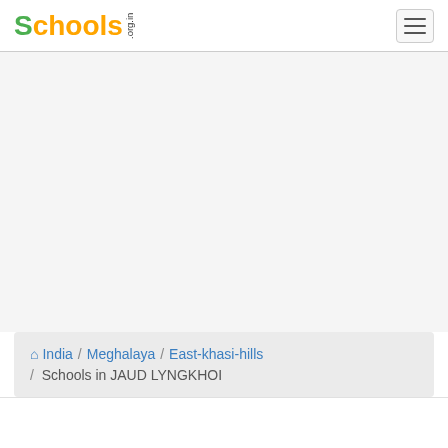Schools.org.in — navigation header with logo and hamburger menu
India / Meghalaya / East-khasi-hills / Schools in JAUD LYNGKHOI